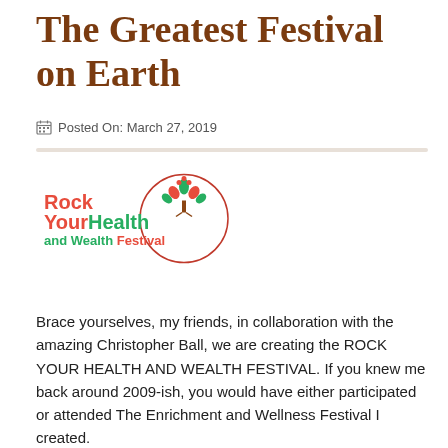The Greatest Festival on Earth
Posted On: March 27, 2019
[Figure (logo): Rock Your Health and Wealth Festival logo with a tree in a circle]
Brace yourselves, my friends, in collaboration with the amazing Christopher Ball, we are creating the ROCK YOUR HEALTH AND WEALTH FESTIVAL. If you knew me back around 2009-ish, you would have either participated or attended The Enrichment and Wellness Festival I created.